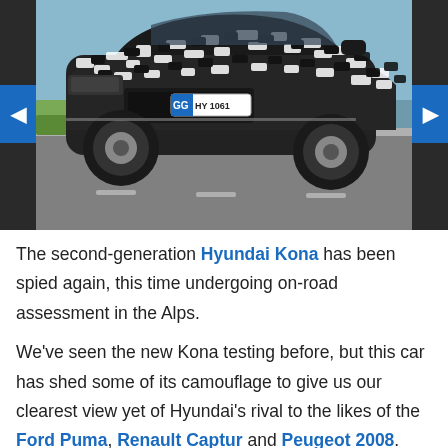[Figure (photo): A camouflaged second-generation Hyundai Kona SUV prototype driving on a road, wearing black-and-white camouflage wrap. The front features a blue German license plate reading 'GG HY 1061'. Navigation arrows (blue) are visible on the left and right sides of the image.]
The second-generation Hyundai Kona has been spied again, this time undergoing on-road assessment in the Alps.
We've seen the new Kona testing before, but this car has shed some of its camouflage to give us our clearest view yet of Hyundai's rival to the likes of the Ford Puma, Renault Captur and Peugeot 2008.